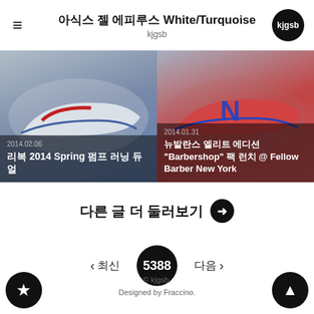아식스 젤 에피루스 White/Turquoise
kjgsb
[Figure (photo): Two sneaker product cards side by side. Left card shows a white and blue running shoe, dated 2014.02.06, titled '리복 2014 Spring 펌프 러닝 듀얼'. Right card shows a red and blue New Balance shoe, dated 2014.01.31, titled '뉴발란스 엘리트 에디션 "Barbershop" 팩 런치 @ Fellow Barber New York'.]
다른 글 더 둘러보기 →
＜ 최신   5388   다음 ＞
© kjgsb.
Designed by Fraccino.